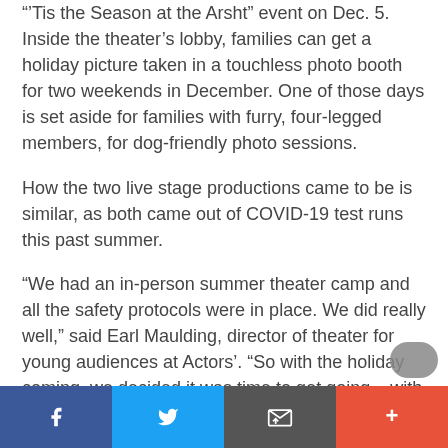“’Tis the Season at the Arsht” event on Dec. 5. Inside the theater’s lobby, families can get a holiday picture taken in a touchless photo booth for two weekends in December. One of those days is set aside for families with furry, four-legged members, for dog-friendly photo sessions.
How the two live stage productions came to be is similar, as both came out of COVID-19 test runs this past summer.
“We had an in-person summer theater camp and all the safety protocols were in place. We did really well,” said Earl Maulding, director of theater for young audiences at Actors’. “So with the holiday coming, we decided it was time to get going – with very careful attention to detail and safety – and do a production for those who want to get out of the house and enjoy live theater.”
Share bar: Facebook, Twitter, Email, More